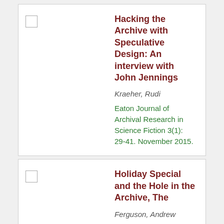Hacking the Archive with Speculative Design: An interview with John Jennings | Kraeher, Rudi | Eaton Journal of Archival Research in Science Fiction 3(1): 29-41. November 2015.
Holiday Special and the Hole in the Archive, The | Ferguson, Andrew | In: Nardi, Dominic J., Jr. and Sweet, Derek R., eds. The Transmedia Franchise of Star Wars TV. Basingstoke: Palgrave Macmillan, 2020, p.